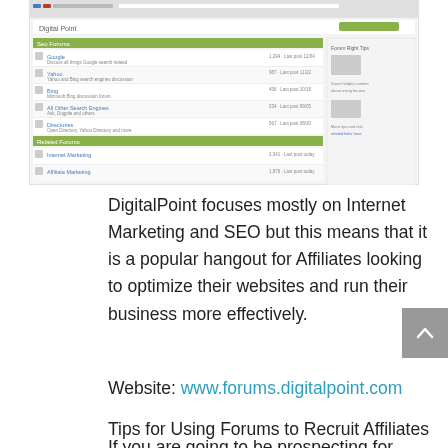[Figure (screenshot): Screenshot of the DigitalPoint forums website showing forum categories including Internet Marketing, Search Engine Optimization, Payment Processing, Social Networks and other sections with green header bars and post listings.]
DigitalPoint focuses mostly on Internet Marketing  and SEO but this means that it is a popular hangout for Affiliates looking to optimize their websites  and run their business more effectively.
Website: www.forums.digitalpoint.com
Tips for Using Forums to Recruit Affiliates
If you are going to be prospecting for